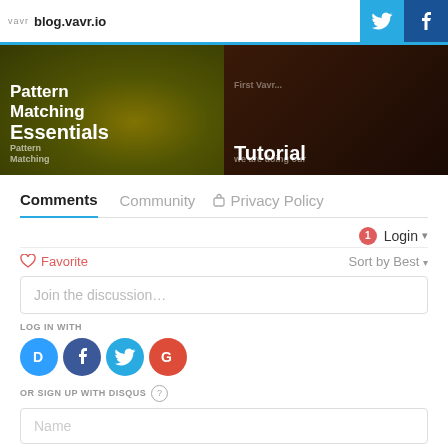blog.vavr.io
[Figure (screenshot): Two blog post thumbnail cards: left card shows 'Pattern Matching Essentials' over a sunflower image, right card shows 'First Vavr Tutorial' over a dark wood image]
Comments
Community
Privacy Policy
Login
Favorite
Sort by Best
Join the discussion...
LOG IN WITH
[Figure (logo): Social login buttons: Disqus (D), Facebook (f), Twitter bird, Google (G)]
OR SIGN UP WITH DISQUS
Name